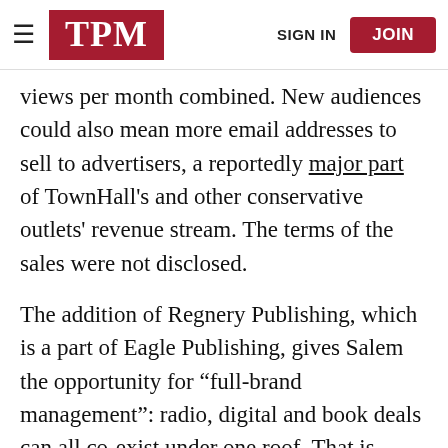TPM | SIGN IN | JOIN
views per month combined. New audiences could also mean more email addresses to sell to advertisers, a reportedly major part of TownHall's and other conservative outlets' revenue stream. The terms of the sales were not disclosed.
The addition of Regnery Publishing, which is a part of Eagle Publishing, gives Salem the opportunity for “full-brand management”: radio, digital and book deals can all co-exist under one roof. That is critical in the current cross-promotional, multi-platform media environment.
With Salem flexing its acquisition muscle — the